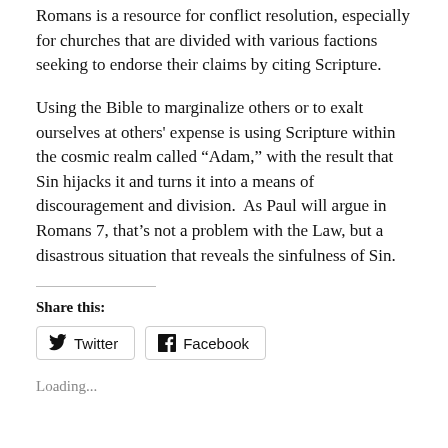Romans is a resource for conflict resolution, especially for churches that are divided with various factions seeking to endorse their claims by citing Scripture.
Using the Bible to marginalize others or to exalt ourselves at others' expense is using Scripture within the cosmic realm called “Adam,” with the result that Sin hijacks it and turns it into a means of discouragement and division.  As Paul will argue in Romans 7, that’s not a problem with the Law, but a disastrous situation that reveals the sinfulness of Sin.
Share this:
Twitter
Facebook
Loading...